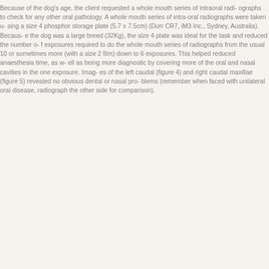Because of the dog's age, the client requested a whole mouth series of intraoral radi- ographs to check for any other oral pathology. A whole mouth series of intra-oral radiographs were taken using a size 4 phosphor storage plate (5.7 x 7.5cm) (Durr CR7, iM3 Inc., Sydney, Australia). Because the dog was a large breed (32Kg), the size 4 plate was ideal for the task and reduced the number of exposures required to do the whole mouth series of radiographs from the usual 10 or sometimes more exposures (with a size 2 film) down to 6 exposures. This helped reduced anaesthesia time, as well as being more diagnostic by covering more of the oral and nasal cavities in the one exposure. Images of the left caudal (figure 4) and right caudal maxillae (figure 5) revealed no obvious dental or nasal problems (remember when faced with unilateral oral disease, radiograph the other side for comparison).